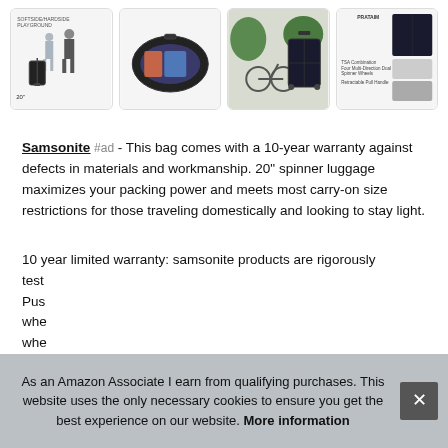[Figure (photo): Four product image cards in a row showing Samsonite luggage: 1) two people with carry-on luggage, 2) open clamshell luggage, 3) dark spinner luggage next to a bicycle, 4) luggage detail with feature callouts]
Samsonite #ad - This bag comes with a 10-year warranty against defects in materials and workmanship. 20" spinner luggage maximizes your packing power and meets most carry-on size restrictions for those traveling domestically and looking to stay light.
10 year limited warranty: samsonite products are rigorously test... Pus... whe... whe...
As an Amazon Associate I earn from qualifying purchases. This website uses the only necessary cookies to ensure you get the best experience on our website. More information